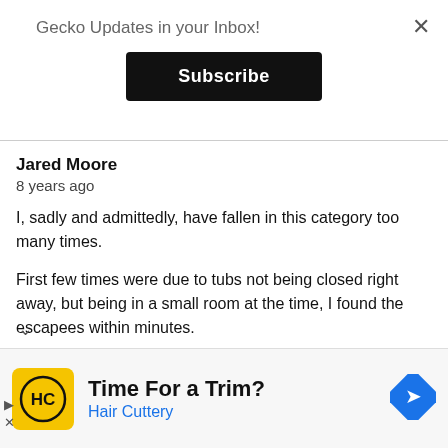Gecko Updates in your Inbox!
Subscribe
Jared Moore
8 years ago
I, sadly and admittedly, have fallen in this category too many times.
First few times were due to tubs not being closed right away, but being in a small room at the time, I found the escapees within minutes.
Regretfully, my worst 'escape' was a hatchling at my new place that ly a month or two old. She was a really neat gecko, planned on
[Figure (infographic): Advertisement banner for Hair Cuttery with yellow logo showing HC letters, text 'Time For a Trim?' and 'Hair Cuttery' in blue, blue diamond arrow icon on right]